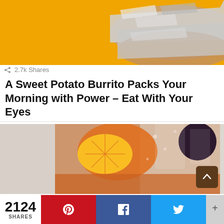[Figure (photo): Photo of a foil-wrapped burrito on a yellow background]
2.7k Shares
A Sweet Potato Burrito Packs Your Morning with Power – Eat With Your Eyes
[Figure (photo): Close-up photo of an orange-colored cocktail with orange slice and cherry garnish, ice]
2124 SHARES